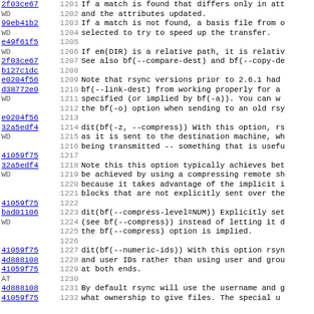| hash | line | text |
| --- | --- | --- |
| 2f03ce67 | 1201 | If a match is found that differs only in att |
| WD | 1202 | and the attributes updated. |
| 99eb41b2 | 1203 | If a match is not found, a basis file from o |
| WD | 1204 | selected to try to speed up the transfer. |
| e49f61f5 | 1205 |  |
| WD | 1206 | If em(DIR) is a relative path, it is relativ |
| 2f03ce67 | 1207 | See also bf(--compare-dest) and bf(--copy-de |
| b127c1dc | 1208 |  |
| e0204f56 | 1209 | Note that rsync versions prior to 2.6.1 had |
| d38772e0 | 1210 | bf(--link-dest) from working properly for a |
| WD | 1211 | specified (or implied by bf(-a)).  You can w |
|  | 1212 | the bf(-o) option when sending to an old rsy |
| e0204f56 | 1213 |  |
| 32a5edf4 | 1214 | dit(bf(-z, --compress)) With this option, rs |
| WD | 1215 | as it is sent to the destination machine, wh |
|  | 1216 | being transmitted -- something that is usefu |
| 41059f75 | 1217 |  |
| 32a5edf4 | 1218 | Note this this option typically achieves bet |
| WD | 1219 | be achieved by using a compressing remote sh |
|  | 1220 | because it takes advantage of the implicit i |
|  | 1221 | blocks that are not explicitly sent over the |
| 41059f75 | 1222 |  |
| bad01106 | 1223 | dit(bf(--compress-level=NUM)) Explicitly set |
| WD | 1224 | (see bf(--compress)) instead of letting it d |
|  | 1225 | the bf(--compress) option is implied. |
|  | 1226 |  |
| 41059f75 | 1227 | dit(bf(--numeric-ids)) With this option rsyn |
| 4d888108 | 1228 | and user IDs rather than using user and grou |
| 41059f75 | 1229 | at both ends. |
| AT | 1230 |  |
| 4d888108 | 1231 | By default rsync will use the username and g |
| 41059f75 | 1232 | what ownership to give files. The special u |